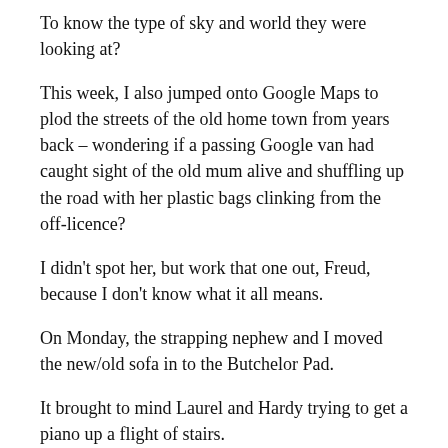To know the type of sky and world they were looking at?
This week, I also jumped onto Google Maps to plod the streets of the old home town from years back – wondering if a passing Google van had caught sight of the old mum alive and shuffling up the road with her plastic bags clinking from the off-licence?
I didn't spot her, but work that one out, Freud, because I don't know what it all means.
On Monday, the strapping nephew and I moved the new/old sofa in to the Butchelor Pad.
It brought to mind Laurel and Hardy trying to get a piano up a flight of stairs.
Sadly, in this little scenario, I am no longer ‘the thin one’ of the duo.